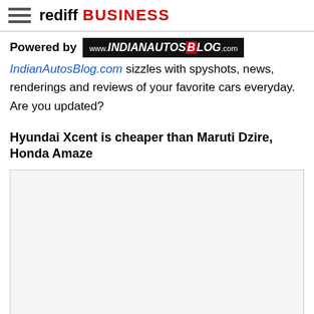rediff BUSINESS
Powered by IndianAutosBlog.com sizzles with spyshots, news, renderings and reviews of your favorite cars everyday. Are you updated?
Hyundai Xcent is cheaper than Maruti Dzire, Honda Amaze
[Figure (photo): Empty image placeholder / content area below the article title]